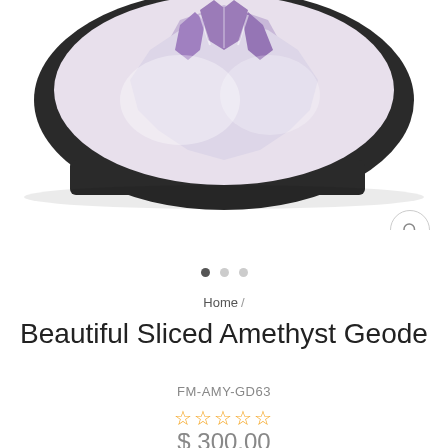[Figure (photo): A sliced amethyst geode with purple crystals visible on the interior and a dark rough exterior, displayed on a white background.]
Home /
Beautiful Sliced Amethyst Geode
FM-AMY-GD63
☆☆☆☆☆
$ 300.00
Only 1 items in stock!
ADD TO CART